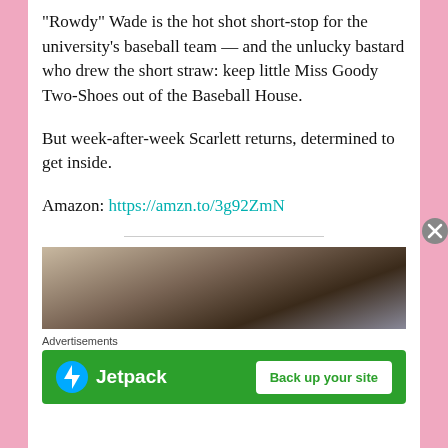“Rowdy” Wade is the hot shot short-stop for the university’s baseball team — and the unlucky bastard who drew the short straw: keep little Miss Goody Two-Shoes out of the Baseball House.
But week-after-week Scarlett returns, determined to get inside.
Amazon: https://amzn.to/3g92ZmN
[Figure (photo): Cropped photo showing bare torso and dark curly hair of a person, partial upper body visible]
Advertisements
[Figure (logo): Jetpack advertisement banner with green background, Jetpack logo and 'Back up your site' button]